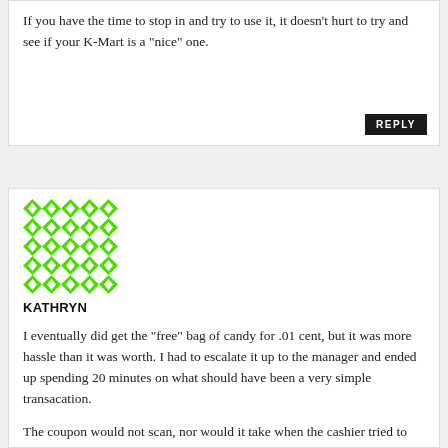If you have the time to stop in and try to use it, it doesn't hurt to try and see if your K-Mart is a "nice" one.
[Figure (illustration): Green and white geometric patterned avatar image for user Kathryn]
KATHRYN
I eventually did get the "free" bag of candy for .01 cent, but it was more hassle than it was worth. I had to escalate it up to the manager and ended up spending 20 minutes on what should have been a very simple transacation.
The coupon would not scan, nor would it take when the cashier tried to manually enter it and the cashier said I had picked up the wrong type of candy and that was the reason...I pointed out that it exactly what stated on the coupon, and even then, tried to say that I just needed to go find a different type of candy. I advised I had picked out the candy that I wanted, it matched what was on the coupon and only then did she say that the coupon was not